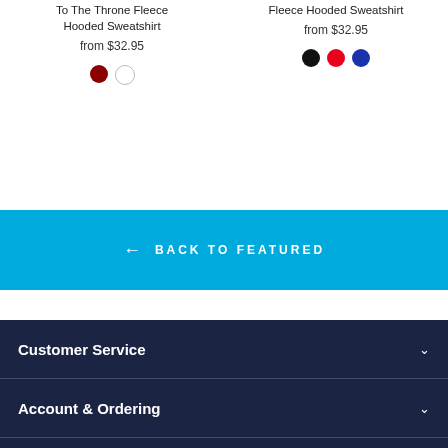To The Throne Fleece Hooded Sweatshirt
from $32.95
Fleece Hooded Sweatshirt
from $32.95
← BACK TO FEATURED
Customer Service
Account & Ordering